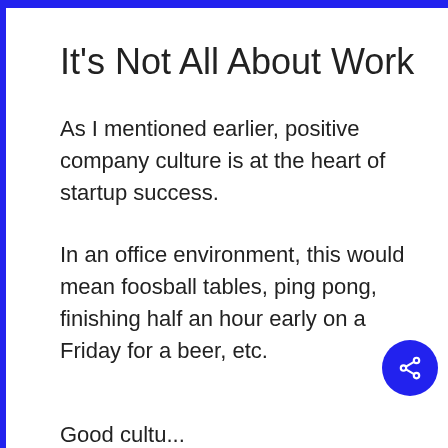It's Not All About Work
As I mentioned earlier, positive company culture is at the heart of startup success.
In an office environment, this would mean foosball tables, ping pong, finishing half an hour early on a Friday for a beer, etc.
Good culture...